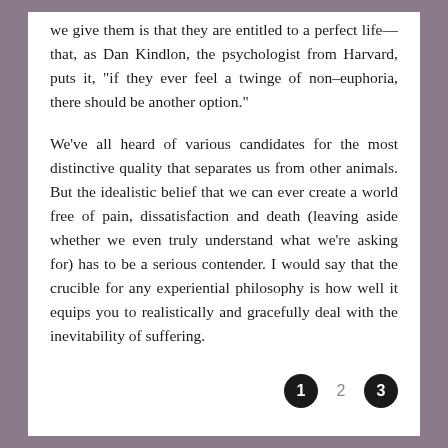we give them is that they are entitled to a perfect life—that, as Dan Kindlon, the psychologist from Harvard, puts it, "if they ever feel a twinge of non–euphoria, there should be another option."
We've all heard of various candidates for the most distinctive quality that separates us from other animals. But the idealistic belief that we can ever create a world free of pain, dissatisfaction and death (leaving aside whether we even truly understand what we're asking for) has to be a serious contender. I would say that the crucible for any experiential philosophy is how well it equips you to realistically and gracefully deal with the inevitability of suffering.
1  2  3